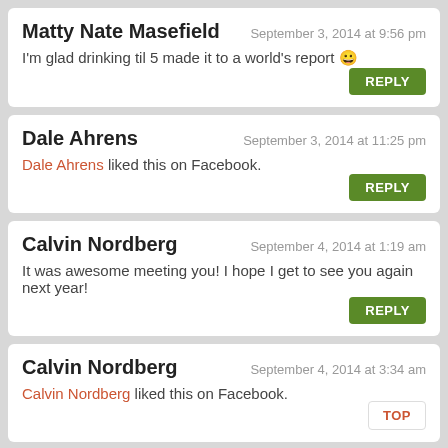Matty Nate Masefield — September 3, 2014 at 9:56 pm
I'm glad drinking til 5 made it to a world's report 😀
Dale Ahrens — September 3, 2014 at 11:25 pm
Dale Ahrens liked this on Facebook.
Calvin Nordberg — September 4, 2014 at 1:19 am
It was awesome meeting you! I hope I get to see you again next year!
Calvin Nordberg — September 4, 2014 at 3:34 am
Calvin Nordberg liked this on Facebook.